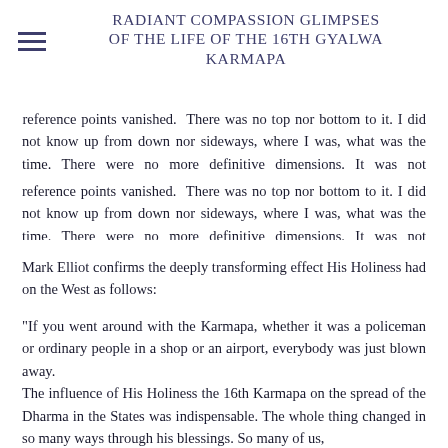RADIANT COMPASSION GLIMPSES OF THE LIFE OF THE 16TH GYALWA KARMAPA
reference points vanished. There was no top nor bottom to it. I did not know up from down nor sideways, where I was, what was the time. There were no more definitive dimensions. It was not something special he did or said, but just his presence was uplifting. But words are not enough to describe it.” For Maend this presence was this the very reason why His Holiness could in this relatively short time help the Dharma to take root in the West.
Mark Elliot confirms the deeply transforming effect His Holiness had on the West as follows:
"If you went around with the Karmapa, whether it was a policeman or ordinary people in a shop or an airport, everybody was just blown away.
The influence of His Holiness the 16th Karmapa on the spread of the Dharma in the States was indispensable. The whole thing changed in so many ways through his blessings. So many of us, the ones he associated here, to him without hesitation, he is just